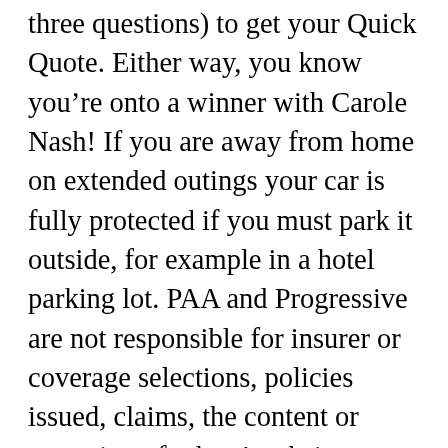three questions) to get your Quick Quote. Either way, you know you're onto a winner with Carole Nash! If you are away from home on extended outings your car is fully protected if you must park it outside, for example in a hotel parking lot. PAA and Progressive are not responsible for insurer or coverage selections, policies issued, claims, the content or operation of others' websites, or how others handle or use your information. If your car doesn't qualify for classic auto insurance, a standard auto insurance policy may be a better option for you. In many states, you may not qualify for classic auto insurance if you've had excessive speeding violations, reckless driving, and other serious infractions in the last three